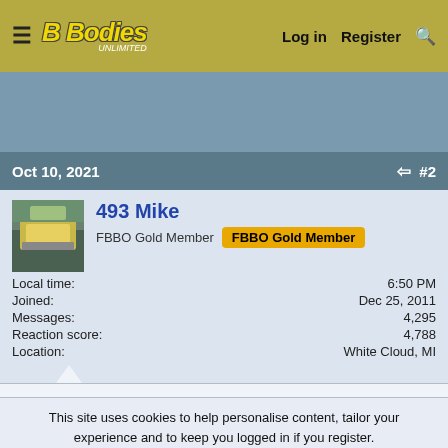≡  FBBodies  Log in  Register  🔍
[Figure (photo): Blue-gray banner/advertisement area]
Oct 10, 2021  #2
[Figure (photo): Avatar photo of a yellow car]
493 Mike
FBBO Gold Member  FBBO Gold Member
Local time: 6:50 PM
Joined: Dec 25, 2011
Messages: 4,295
Reaction score: 4,788
Location: White Cloud, MI
This site uses cookies to help personalise content, tailor your experience and to keep you logged in if you register.
By continuing to use this site, you are consenting to our use of cookies.
✓ Accept   Learn more...